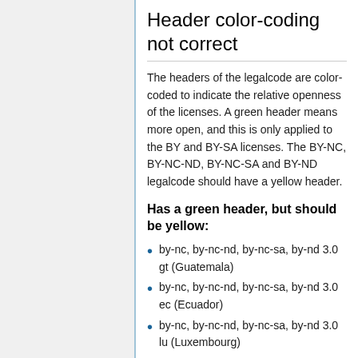Header color-coding not correct
The headers of the legalcode are color-coded to indicate the relative openness of the licenses. A green header means more open, and this is only applied to the BY and BY-SA licenses. The BY-NC, BY-NC-ND, BY-NC-SA and BY-ND legalcode should have a yellow header.
Has a green header, but should be yellow:
by-nc, by-nc-nd, by-nc-sa, by-nd 3.0 gt (Guatemala)
by-nc, by-nc-nd, by-nc-sa, by-nd 3.0 ec (Ecuador)
by-nc, by-nc-nd, by-nc-sa, by-nd 3.0 lu (Luxembourg)